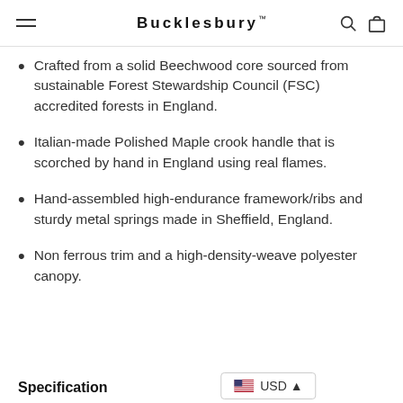Bucklesbury™
Crafted from a solid Beechwood core sourced from sustainable Forest Stewardship Council (FSC) accredited forests in England.
Italian-made Polished Maple crook handle that is scorched by hand in England using real flames.
Hand-assembled high-endurance framework/ribs and sturdy metal springs made in Sheffield, England.
Non ferrous trim and a high-density-weave polyester canopy.
Specification